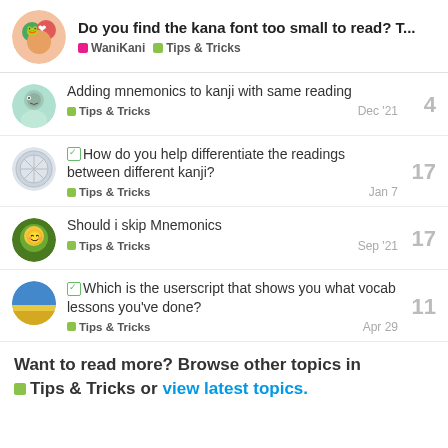Do you find the kana font too small to read? T... | WaniKani | Tips & Tricks
Adding mnemonics to kanji with same reading — Tips & Tricks — Dec '21 — 4 replies
✓ How do you help differentiate the readings between different kanji? — Tips & Tricks — Jan 7 — 17 replies
Should i skip Mnemonics — Tips & Tricks — Sep '21 — 17 replies
✓ Which is the userscript that shows you what vocab lessons you've done? — Tips & Tricks — Apr 29 — 11 replies
Want to read more? Browse other topics in Tips & Tricks or view latest topics.